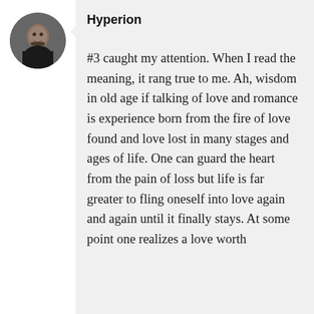[Figure (photo): Circular avatar photo of a man with a mustache wearing a dark shirt]
Hyperion
#3 caught my attention. When I read the meaning, it rang true to me. Ah, wisdom in old age if talking of love and romance is experience born from the fire of love found and love lost in many stages and ages of life. One can guard the heart from the pain of loss but life is far greater to fling oneself into love again and again until it finally stays. At some point one realizes a love worth